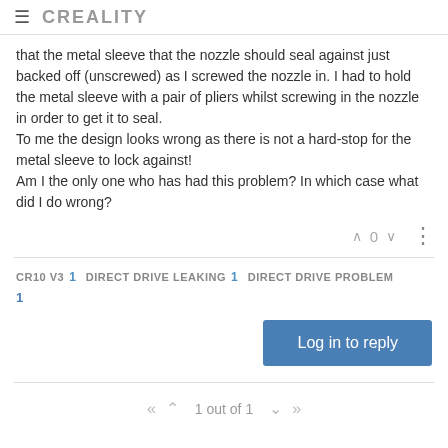CREALITY
that the metal sleeve that the nozzle should seal against just backed off (unscrewed) as I screwed the nozzle in. I had to hold the metal sleeve with a pair of pliers whilst screwing in the nozzle in order to get it to seal.
To me the design looks wrong as there is not a hard-stop for the metal sleeve to lock against!
Am I the only one who has had this problem? In which case what did I do wrong?
0
CR10 V3  1  DIRECT DRIVE LEAKING  1  DIRECT DRIVE PROBLEM  1
Log in to reply
1 out of 1